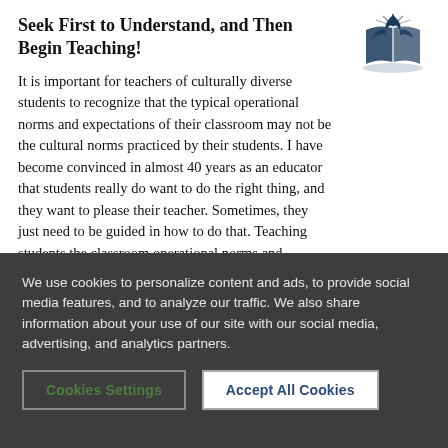Seek First to Understand, and Then Begin Teaching!
[Figure (logo): Seventh-day Adventist Church logo: stylized flame/dove over open book with rays, dark blue]
It is important for teachers of culturally diverse students to recognize that the typical operational norms and expectations of their classroom may not be the cultural norms practiced by their students. I have become convinced in almost 40 years as an educator that students really do want to do the right thing, and they want to please their teacher. Sometimes, they just need to be guided in how to do that. Teaching students the classroom operational norms and expectations
We use cookies to personalize content and ads, to provide social media features, and to analyze our traffic. We also share information about your use of our site with our social media, advertising, and analytics partners.
Cookies Settings    Accept All Cookies